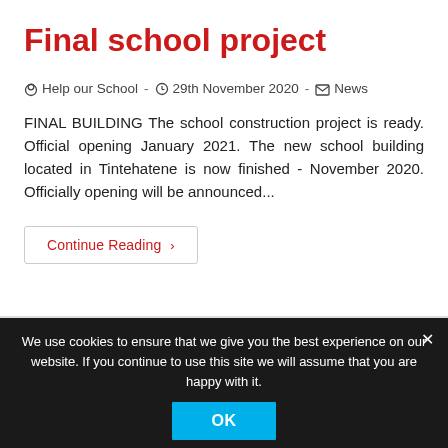Final school project
Help our School  -  29th November 2020  -  News
FINAL BUILDING The school construction project is ready. Official opening January 2021. The new school building located in Tintehatene is now finished - November 2020. Officially opening will be announced...
Continue Reading ›
We use cookies to ensure that we give you the best experience on our website. If you continue to use this site we will assume that you are happy with it.
OK